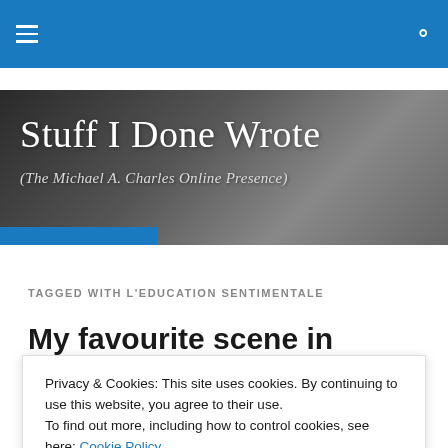Navigation bar with hamburger menu and search icon
[Figure (photo): Banner image showing 'Stuff I Done Wrote' blog header with a blurred black-and-white photo of a running person in the background, subtitle reads '(The Michael A. Charles Online Presence)', with a blue stripe at the bottom.]
TAGGED WITH L'EDUCATION SENTIMENTALE
My favourite scene in
Privacy & Cookies: This site uses cookies. By continuing to use this website, you agree to their use.
To find out more, including how to control cookies, see here: Cookie Policy
Close and accept
lifelong best friend / occasional enemy Deslauriers,